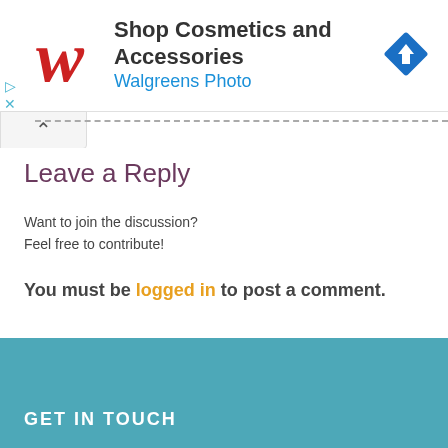[Figure (screenshot): Walgreens advertisement banner with red script W logo, text 'Shop Cosmetics and Accessories' and 'Walgreens Photo' in blue, and a blue diamond navigation badge icon on the right.]
Leave a Reply
Want to join the discussion?
Feel free to contribute!
You must be logged in to post a comment.
GET IN TOUCH